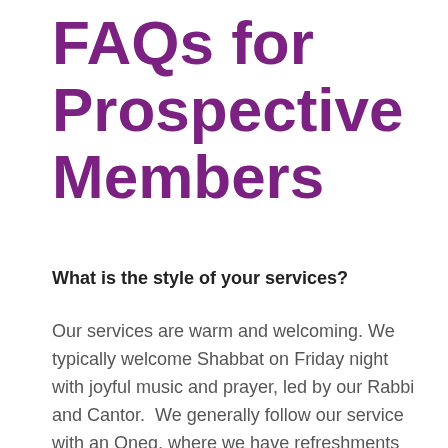FAQs for Prospective Members
What is the style of your services?
Our services are warm and welcoming. We typically welcome Shabbat on Friday night with joyful music and prayer, led by our Rabbi and Cantor.  We generally follow our service with an Oneg, where we have refreshments and an opportunity to socialize with others.  We don't have a formal dress code; some people wear